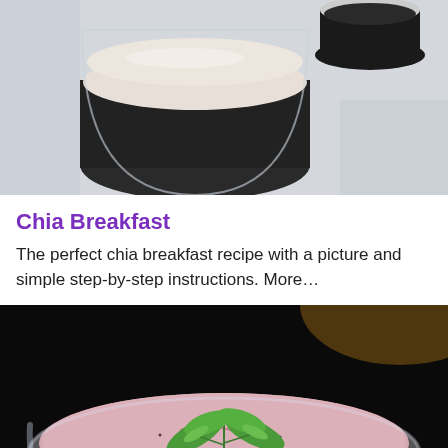[Figure (photo): Two glass cups layered with chia seeds and cream/milk, photographed from above on a light marble surface.]
Chia Breakfast
The perfect chia breakfast recipe with a picture and simple step-by-step instructions. More…
[Figure (photo): A round glass bowl filled with pink chia pudding topped with fresh green mint leaves, on a dark black background.]